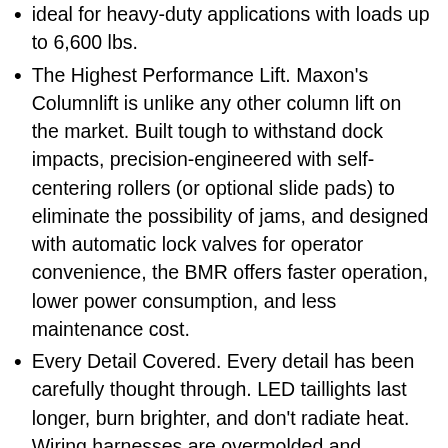ideal for heavy-duty applications with loads up to 6,600 lbs.
The Highest Performance Lift. Maxon's Columnlift is unlike any other column lift on the market. Built tough to withstand dock impacts, precision-engineered with self-centering rollers (or optional slide pads) to eliminate the possibility of jams, and designed with automatic lock valves for operator convenience, the BMR offers faster operation, lower power consumption, and less maintenance cost.
Every Detail Covered. Every detail has been carefully thought through. LED taillights last longer, burn brighter, and don't radiate heat. Wiring harnesses are overmolded and connections feature Deutsche connectors that are watertight, eliminating most corrosion problems. The optional aluminum platform reduces weight and allows the truck or trailer carrier to haul heavier payloads. And to top it all of: the BMR comes GALVANIZED STANDARD, at no additional cost.